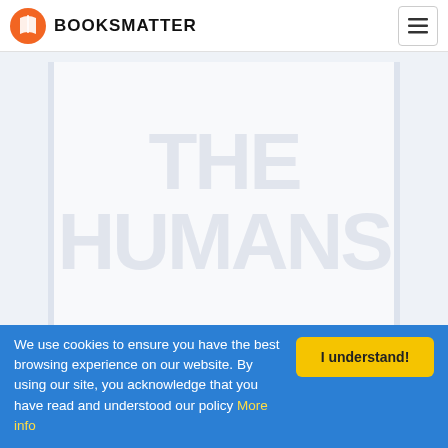BOOKSMATTER
[Figure (illustration): Book cover placeholder with large watermark text, light gray background with side borders]
The Humans
★ 4.5   💬 407
We use cookies to ensure you have the best browsing experience on our website. By using our site, you acknowledge that you have read and understood our policy More info